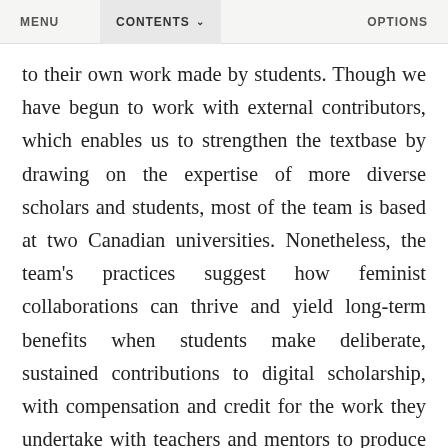MENU   CONTENTS ∨   OPTIONS
to their own work made by students. Though we have begun to work with external contributors, which enables us to strengthen the textbase by drawing on the expertise of more diverse scholars and students, most of the team is based at two Canadian universities. Nonetheless, the team's practices suggest how feminist collaborations can thrive and yield long-term benefits when students make deliberate, sustained contributions to digital scholarship, with compensation and credit for the work they undertake with teachers and mentors to produce resources used by their peers and the public. The project's workflow is designed around the training and mentorship of students. By being involved in